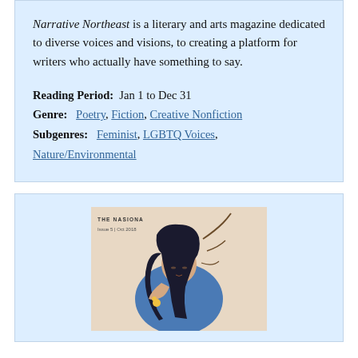Narrative Northeast is a literary and arts magazine dedicated to diverse voices and visions, to creating a platform for writers who actually have something to say.
Reading Period: Jan 1 to Dec 31
Genre: Poetry, Fiction, Creative Nonfiction
Subgenres: Feminist, LGBTQ Voices, Nature/Environmental
[Figure (illustration): Cover of The Nasiona magazine, Issue 5, Oct 2018, showing an illustrated woman with long dark hair wearing blue, resting her head, surrounded by organic/nature elements]